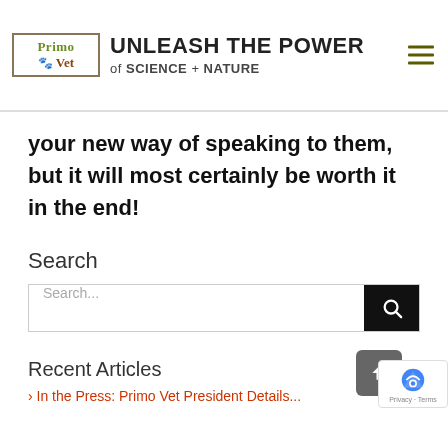[Figure (logo): Primo Vet logo with paw print and tagline UNLEASH THE POWER of SCIENCE + NATURE]
If he feels that he thinks a prompt you give can be ... and that consistency is key. It will take some time for your dog to interpret and adapt to your new way of speaking to them, but it will most certainly be worth it in the end!
Search
Search...
Recent Articles
› In the Press: Primo Vet President Details...